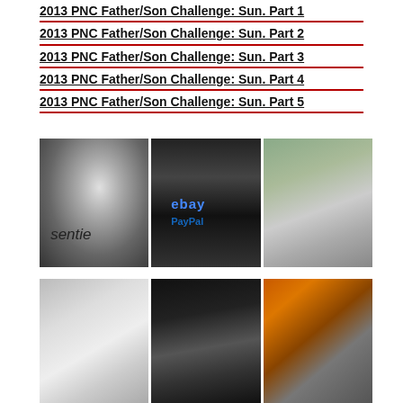2013 PNC Father/Son Challenge: Sun. Part 1
2013 PNC Father/Son Challenge: Sun. Part 2
2013 PNC Father/Son Challenge: Sun. Part 3
2013 PNC Father/Son Challenge: Sun. Part 4
2013 PNC Father/Son Challenge: Sun. Part 5
[Figure (photo): Close-up of golf iron with 'sentie' bag/cloth visible, black and white golf equipment]
[Figure (photo): Golf bag with eBay and PayPal logos, red headcovers, standing on grass]
[Figure (photo): Golfer in white cap and grey sweater swinging a club on the driving range, crowd in background]
[Figure (photo): Close-up of golf iron/putter head, silver/white, on grass]
[Figure (photo): Black putter head with Titleist logo on grass]
[Figure (photo): Golf club bag with orange and purple headcovers, chrome clubs visible]